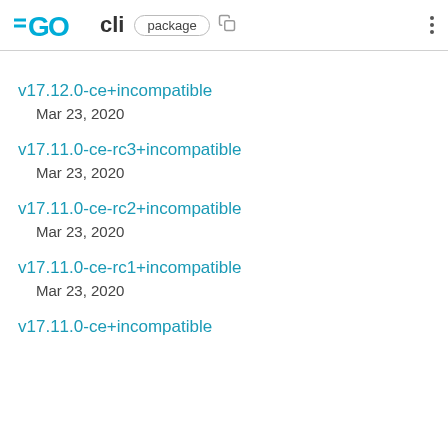GO cli package
v17.12.0-ce+incompatible
Mar 23, 2020
v17.11.0-ce-rc3+incompatible
Mar 23, 2020
v17.11.0-ce-rc2+incompatible
Mar 23, 2020
v17.11.0-ce-rc1+incompatible
Mar 23, 2020
v17.11.0-ce+incompatible